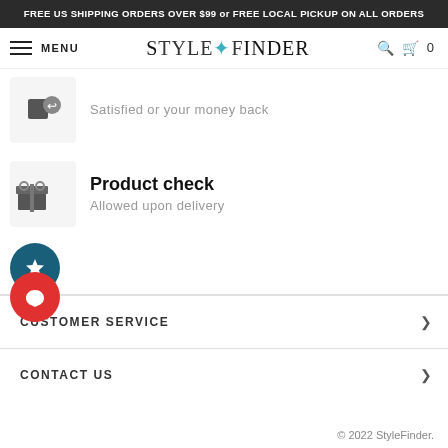FREE US SHIPPING ORDERS OVER $99 or FREE LOCAL PICKUP ON ALL ORDERS
[Figure (screenshot): StyleFinder logo with navigation bar including MENU label, cart icon, and count 0]
Satisfied or your money back
Product check
Allowed upon delivery
CUSTOMER SERVICE
CONTACT US
© 2022 StyleFinder.